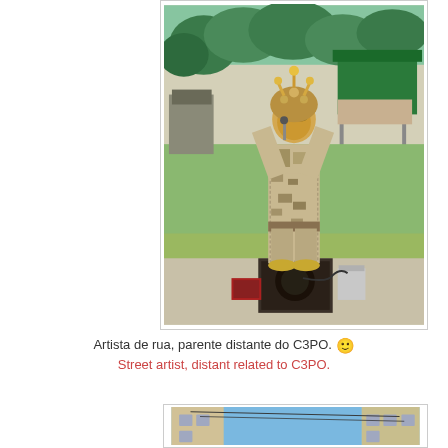[Figure (photo): A street performer dressed in an elaborate costume with patterned suit, golden mask, and decorated helmet, standing on a speaker box in a park. The performer is posed with hands near their face. Green grass and trees visible in background along with market stalls.]
Artista de rua, parente distante do C3PO. 😊 Street artist, distant related to C3PO.
[Figure (photo): Partial view of a street or alley between buildings with blue sky visible above.]